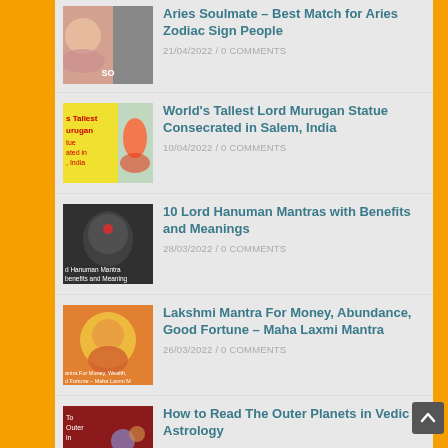Aries Soulmate – Best Match for Aries Zodiac Sign People | 21/04/2022 / 0 COMMENTS
World's Tallest Lord Murugan Statue Consecrated in Salem, India | 10/04/2022 / 0 COMMENTS
10 Lord Hanuman Mantras with Benefits and Meanings | 28/03/2022 / 0 COMMENTS
Lakshmi Mantra For Money, Abundance, Good Fortune – Maha Laxmi Mantra | 26/03/2022 / 0 COMMENTS
How to Read The Outer Planets in Vedic Astrology